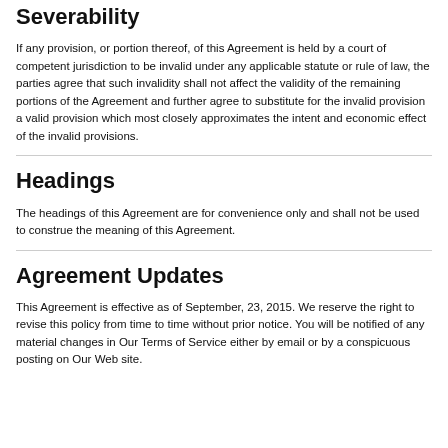Severability
If any provision, or portion thereof, of this Agreement is held by a court of competent jurisdiction to be invalid under any applicable statute or rule of law, the parties agree that such invalidity shall not affect the validity of the remaining portions of the Agreement and further agree to substitute for the invalid provision a valid provision which most closely approximates the intent and economic effect of the invalid provisions.
Headings
The headings of this Agreement are for convenience only and shall not be used to construe the meaning of this Agreement.
Agreement Updates
This Agreement is effective as of September, 23, 2015. We reserve the right to revise this policy from time to time without prior notice. You will be notified of any material changes in Our Terms of Service either by email or by a conspicuous posting on Our Web site.